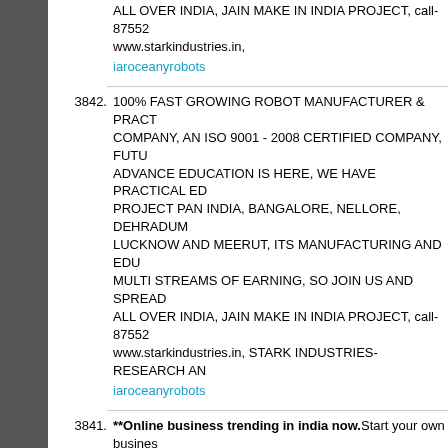ALL OVER INDIA, JAIN MAKE IN INDIA PROJECT, call-8755...
www.starkindustries.in,
iaroceanyrobots
3842. 100% FAST GROWING ROBOT MANUFACTURER & PRACT... COMPANY, AN ISO 9001 - 2008 CERTIFIED COMPANY, FUTU... ADVANCE EDUCATION IS HERE, WE HAVE PRACTICAL ED... PROJECT PAN INDIA, BANGALORE, NELLORE, DEHRADUM... LUCKNOW AND MEERUT, ITS MANUFACTURING AND EDU... MULTI STREAMS OF EARNING, SO JOIN US AND SPREAD... ALL OVER INDIA, JAIN MAKE IN INDIA PROJECT, call-87552... www.starkindustries.in, STARK INDUSTRIES- RESEARCH AN...
iaroceanyrobots
3841. **Online business trending in india now.Start your own busines... city business information(Best Plumbers,House rentals,Hospita... etc),discount/offers,classifieds,realestates,jobs&news by our p... based CMS website with Google Adsense and Amazon Affiliate... our webportals www.dialnizamabad.com,dialkarimnagar.com,k... etc.100% profit will be yours.*Interested whatsapp 970381711... satish19ou@gmail.com*.
satishmedipally
3840. 100% FAST GROWING ROBOT MANUFACTURER & PRACT... COMPANY, AN ISO 9001 - 2008 CERTIFIED COMPANY, FUTU... ADVANCE EDUCATION IS HERE, WE HAVE PRACTICAL ED... PROJECT PAN INDIA, BANGALORE, NELLORE, DEHRADUM... LUCKNOW AND MEERUT, ITS MANUFACTURING AND EDU... MULTI STREAMS OF EARNING, SO JOIN US AND SPREAD... ALL OVER INDIA, JAIN MAKE IN INDIA PROJECT, call-87552... www.starkindustries.in, STARK INDUSTRIES- R.M TOWER, G...
iarunitechrobots